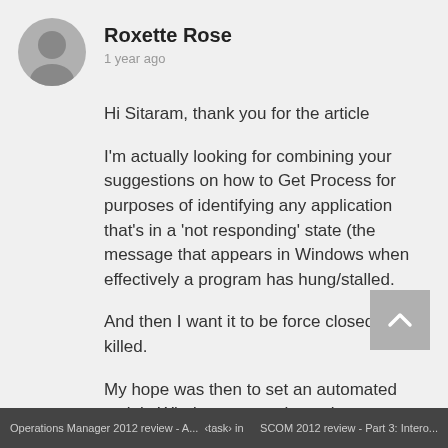Roxette Rose
1 year ago
Hi Sitaram, thank you for the article
I'm actually looking for combining your suggestions on how to Get Process for purposes of identifying any application that's in a 'not responding' state (the message that appears in Windows when effectively a program has hung/stalled.
And then I want it to be force closed/task killed.
My hope was then to set an automated task in Windows to run the script periodically
Operations Manager 2012 review - ... <task> in ... SCOM 2012 review - Part 3: Intero...